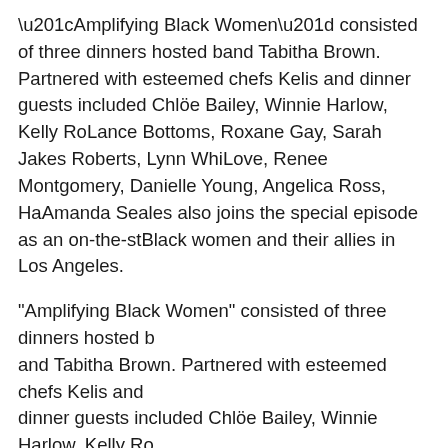“Amplifying Black Women” consisted of three dinners hosted by and Tabitha Brown. Partnered with esteemed chefs Kelis and dinner guests included Chloë Bailey, Winnie Harlow, Kelly Row Lance Bottoms, Roxane Gay, Sarah Jakes Roberts, Lynn Whi Love, Renee Montgomery, Danielle Young, Angelica Ross, Ha Amanda Seales also joins the special episode as an on-the-st Black women and their allies in Los Angeles.
During an exclusive screening at YouTube Stages, journalist a Young moderated a panel discussion about the episode with fe and comedian, Loni Love, alongside Courtney E. Whitaker, cre SpringHill Company, DeMira Pierre from YouTube Originals an Loveland Foundation.
When asked about the importance of seeing these renowned a athletes and authors have a communion space to celebrate Bl “Communion means the experience of gathering in intimate se conversations that explores spirituality and your mental state. with Black women is really a gift, it means we’re safe and we’r responsibility to contribute. You’re not just there to take, but to space.”
Black women are far from a monolith and Whitaker was taske